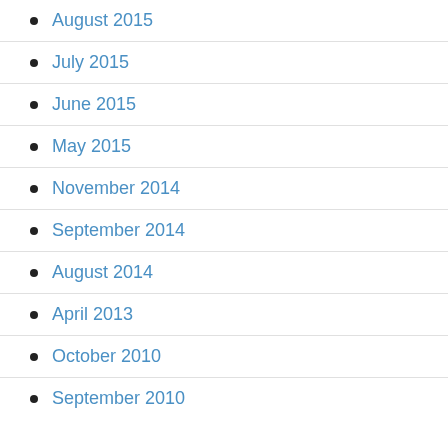August 2015
July 2015
June 2015
May 2015
November 2014
September 2014
August 2014
April 2013
October 2010
September 2010